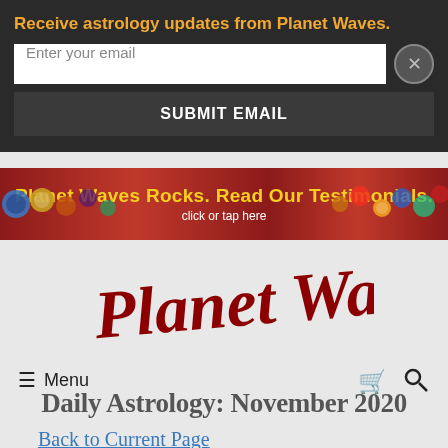Receive astrology updates from Planet Waves.
[Figure (screenshot): Email input field with placeholder 'Enter your email' and a close (X) button]
[Figure (screenshot): SUBMIT EMAIL button]
[Figure (infographic): Planet Waves Rocks. Read Our Testimonials. click or tap here — decorative ad banner with colored orbs]
[Figure (logo): Planet Waves handwritten logo in dark red/maroon script]
≡ Menu
Daily Astrology: November 2020
Back to Current Page